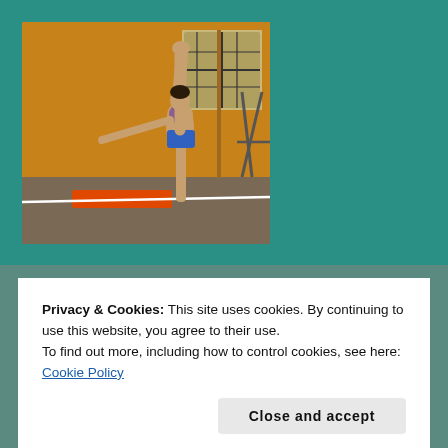[Figure (photo): A person performing a standing split yoga pose (holding one leg extended vertically overhead, with one arm extended horizontally) in a yoga studio with orange walls, large windows, and a gray floor with an orange mat.]
Privacy & Cookies: This site uses cookies. By continuing to use this website, you agree to their use.
To find out more, including how to control cookies, see here: Cookie Policy
Close and accept